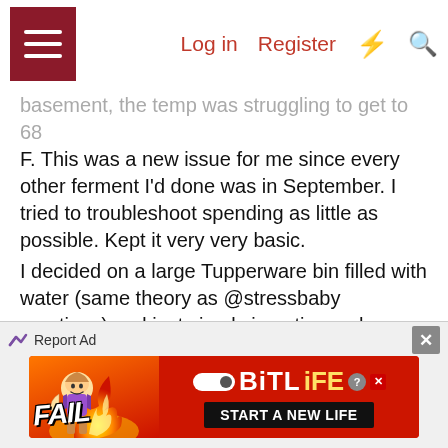Log in  Register
...basement, the temp was struggling to get to 68 F. This was a new issue for me since every other ferment I'd done was in September. I tried to troubleshoot spending as little as possible. Kept it very very basic.
I decided on a large Tupperware bin filled with water (same theory as @stressbaby mentions) and just simply inserting a cheap fish tank heater. The heater was pre-adjusted to maintain a temp between 69° - 72°. I ended up dropping in x2 5gal-10gal heaters into the tub. It worked great. Though not nearly as impressive as your setup
50° basement could have caused some real issues otherwise. I have no concern about lowering the temp for summer ferments though. If I had a high temp fast
[Figure (screenshot): BitLife advertisement banner — FAIL text with cartoon character, pill icon, BitLife logo, START A NEW LIFE button]